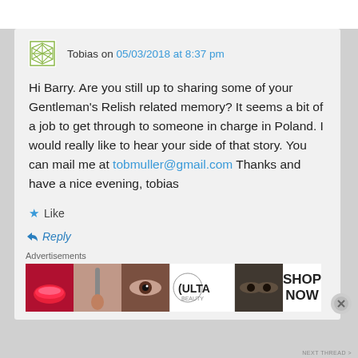Tobias on 05/03/2018 at 8:37 pm
Hi Barry. Are you still up to sharing some of your Gentleman's Relish related memory? It seems a bit of a job to get through to someone in charge in Poland. I would really like to hear your side of that story. You can mail me at tobmuller@gmail.com Thanks and have a nice evening, tobias
Like
Reply
Advertisements
[Figure (photo): Ulta Beauty advertisement banner showing makeup product images and 'SHOP NOW' text]